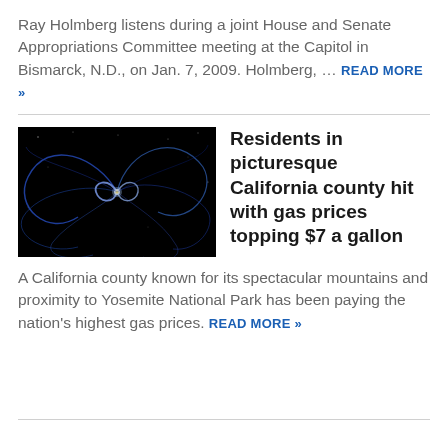Ray Holmberg listens during a joint House and Senate Appropriations Committee meeting at the Capitol in Bismarck, N.D., on Jan. 7, 2009. Holmberg, … READ MORE »
[Figure (photo): Dark image showing blue light streaks or energy visualization on black background, possibly a scientific or abstract photo]
Residents in picturesque California county hit with gas prices topping $7 a gallon
A California county known for its spectacular mountains and proximity to Yosemite National Park has been paying the nation's highest gas prices. READ MORE »